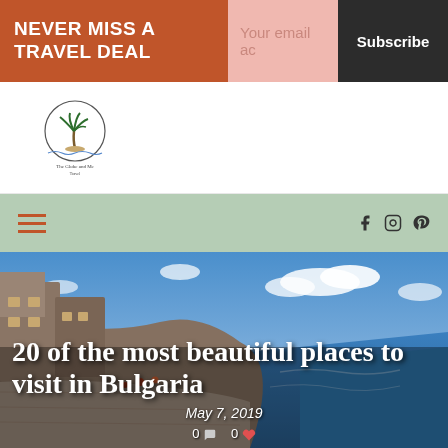NEVER MISS A TRAVEL DEAL | Your email address | Subscribe
[Figure (logo): Travel blog logo with palm tree illustration and text 'The Globe and Me Travel']
[Figure (infographic): Navigation bar with hamburger menu icon and social media icons (Facebook, Instagram, Pinterest)]
[Figure (photo): Hero photo of stone buildings along coastal cliffs in Bulgaria with blue sea and sky]
20 of the most beautiful places to visit in Bulgaria
May 7, 2019
0 [comment icon] 0 [heart icon]